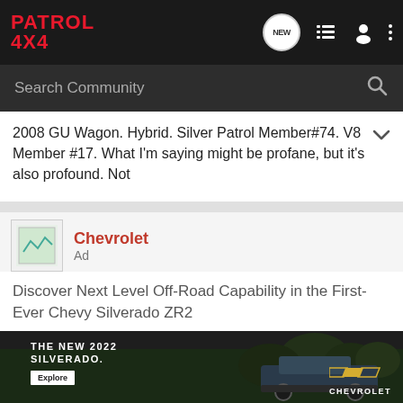PATROL 4X4 — navigation bar with search
2008 GU Wagon. Hybrid. Silver Patrol Member#74. V8 Member #17. What I'm saying might be profane, but it's also profound. Not
Chevrolet
Ad
Discover Next Level Off-Road Capability in the First-Ever Chevy Silverado ZR2
Designed with features like Multimatic DSSV™ dampers so you can power through extreme terrain adventures.
[Figure (photo): Chevrolet Silverado ZR2 truck advertisement image with text 'THE NEW 2022 SILVERADO.' and Explore button, truck visible on right side with Chevrolet logo]